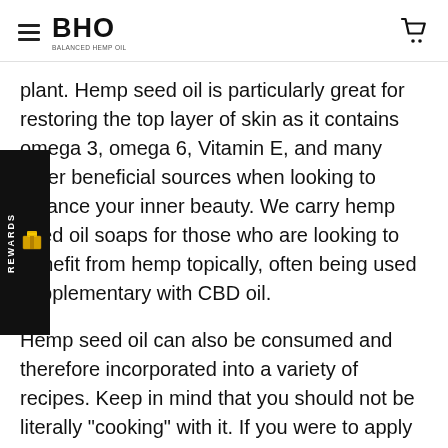BHO — navigation header with logo and cart icon
plant. Hemp seed oil is particularly great for restoring the top layer of skin as it contains omega 3, omega 6, Vitamin E, and many other beneficial sources when looking to balance your inner beauty. We carry hemp seed oil soaps for those who are looking to benefit from hemp topically, often being used supplementary with CBD oil.
Hemp seed oil can also be consumed and therefore incorporated into a variety of recipes. Keep in mind that you should not be literally "cooking" with it. If you were to apply significant heat to hemp seed oil it would rupture the